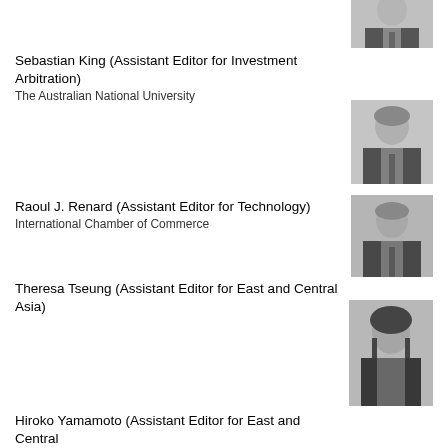[Figure (photo): Partial headshot of a person in a suit, black and white, top of page]
Sebastian King (Assistant Editor for Investment Arbitration)
The Australian National University
[Figure (photo): Headshot of a man in a suit, black and white]
Raoul J. Renard (Assistant Editor for Technology)
International Chamber of Commerce
[Figure (photo): Headshot of a man in a suit, black and white]
Theresa Tseung (Assistant Editor for East and Central Asia)
[Figure (photo): Headshot of a woman with long dark hair, black and white]
Hiroko Yamamoto (Assistant Editor for East and Central Asia)
[Figure (photo): Headshot of a woman smiling, black and white]
Anne Wang (Assistant Editor for Asia-Pacific)
[Figure (photo): Headshot of a woman smiling, black and white, partially visible at bottom]